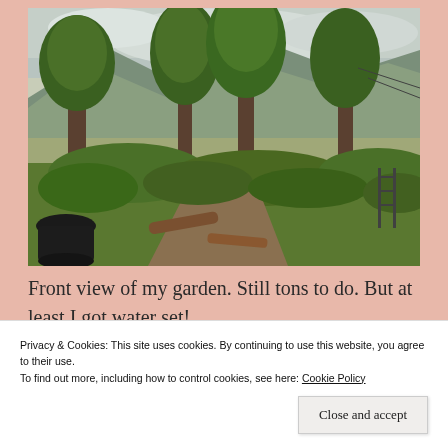[Figure (photo): Front view of a lush garden with trees, green foliage, mountains and cloudy sky in the background, and a black pot on the left side.]
Front view of my garden. Still tons to do. But at least I got water set!
Privacy & Cookies: This site uses cookies. By continuing to use this website, you agree to their use. To find out more, including how to control cookies, see here: Cookie Policy